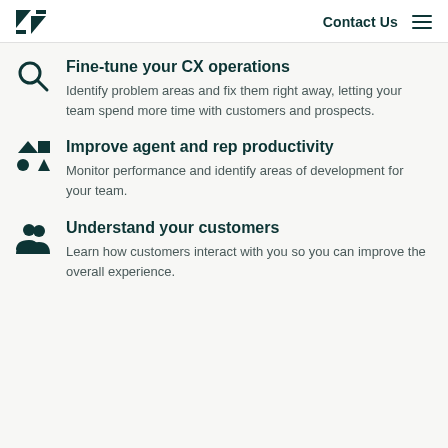Contact Us
Fine-tune your CX operations
Identify problem areas and fix them right away, letting your team spend more time with customers and prospects.
Improve agent and rep productivity
Monitor performance and identify areas of development for your team.
Understand your customers
Learn how customers interact with you so you can improve the overall experience.